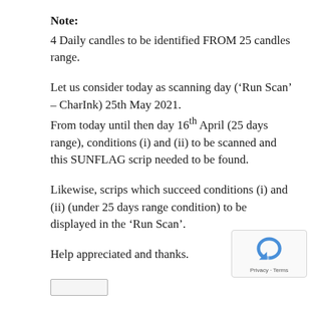Note:
4 Daily candles to be identified FROM 25 candles range.
Let us consider today as scanning day (‘Run Scan’ – CharInk) 25th May 2021.
From today until then day 16th April (25 days range), conditions (i) and (ii) to be scanned and this SUNFLAG scrip needed to be found.
Likewise, scrips which succeed conditions (i) and (ii) (under 25 days range condition) to be displayed in the ‘Run Scan’.
Help appreciated and thanks.